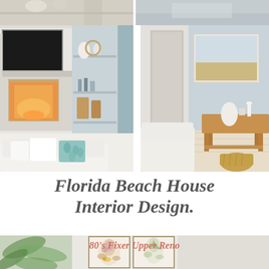[Figure (photo): Top strip: two cropped interior home photos side by side — left shows a shelf/counter area, right shows a bedroom or seating area]
[Figure (photo): Left: bright coastal living room with white fireplace, built-in shelves with vases and bottles, white sofa with teal patterned pillow]
[Figure (photo): Right: light blue coastal room with white brick wall, framed beach artwork, white armchair, wooden console table, wicker basket]
Florida Beach House Interior Design.
[Figure (photo): Bottom: room with green tropical plant in foreground, two framed botanical prints on wall, text overlay reads '80's Fixer Upper Reno']